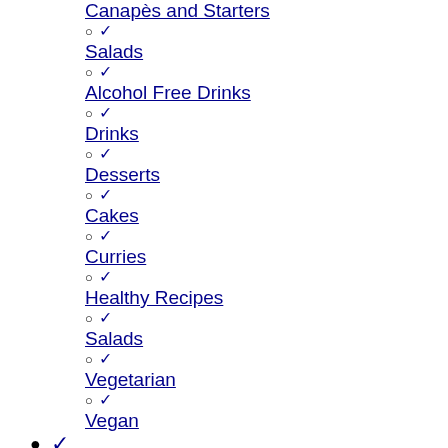Canapès and Starters
Salads
Alcohol Free Drinks
Drinks
Desserts
Cakes
Curries
Healthy Recipes
Salads
Vegetarian
Vegan
Festive